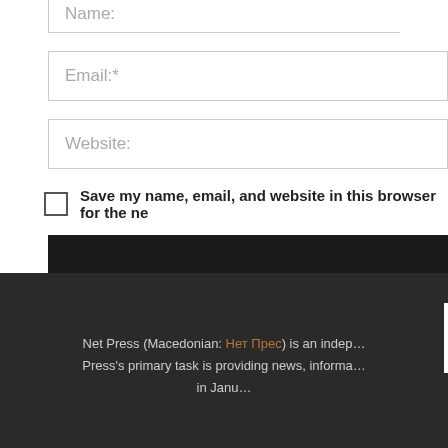Name:
Email:*
Website:
Save my name, email, and website in this browser for the ne…
Net Press (Macedonian: Нет Прес) is an indep… Press's primary task is providing news, informa… in Janu…